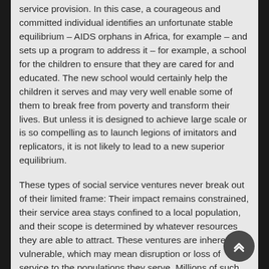service provision. In this case, a courageous and committed individual identifies an unfortunate stable equilibrium – AIDS orphans in Africa, for example – and sets up a program to address it – for example, a school for the children to ensure that they are cared for and educated. The new school would certainly help the children it serves and may very well enable some of them to break free from poverty and transform their lives. But unless it is designed to achieve large scale or is so compelling as to launch legions of imitators and replicators, it is not likely to lead to a new superior equilibrium.
These types of social service ventures never break out of their limited frame: Their impact remains constrained, their service area stays confined to a local population, and their scope is determined by whatever resources they are able to attract. These ventures are inherently vulnerable, which may mean disruption or loss of service to the populations they serve. Millions of such organizations exist around the world – well intended, noble in purpose, and frequently exemplary in execution – but they should not be confused with social entrepreneurship.
It would be possible to reformulate a school for AIDS orphans as social entrepreneurship. But that would require a plan by which the school itself would spawn an entire network of schools and secure the basis for its ongoing support. The